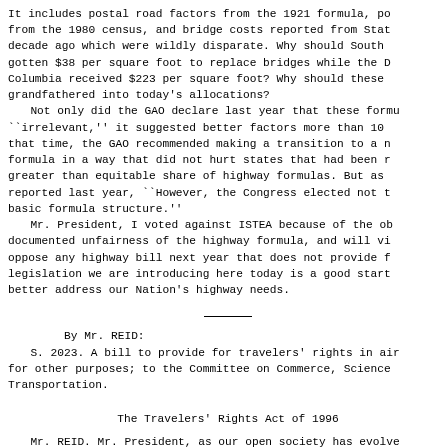It includes postal road factors from the 1921 formula, population from the 1980 census, and bridge costs reported from States a decade ago which were wildly disparate. Why should South Carolina gotten $38 per square foot to replace bridges while the District of Columbia received $223 per square foot? Why should these be grandfathered into today's allocations?
  Not only did the GAO declare last year that these formulas ``irrelevant,'' it suggested better factors more than 10 years that time, the GAO recommended making a transition to a new formula in a way that did not hurt states that had been receiving greater than equitable share of highway formulas. But as GAO reported last year, ``However, the Congress elected not to change basic formula structure.''
  Mr. President, I voted against ISTEA because of the objectively documented unfairness of the highway formula, and will vigorously oppose any highway bill next year that does not provide for it. The legislation we are introducing here today is a good start to better address our Nation's highway needs.
By Mr. REID:
  S. 2023. A bill to provide for travelers' rights in air travel; for other purposes; to the Committee on Commerce, Science, and Transportation.
The Travelers' Rights Act of 1996
Mr. REID. Mr. President, as our open society has evolved, our Government has consistently, though in varying degrees,